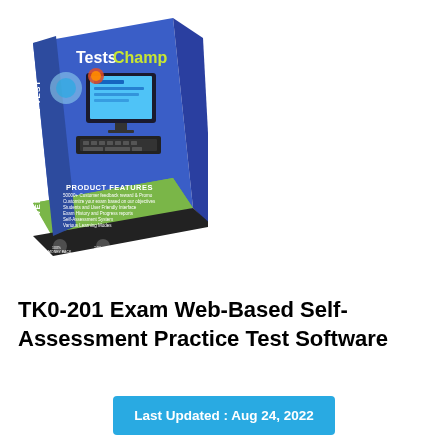[Figure (illustration): TestsChamp product box for Web-Based Practice Test software showing a computer with keyboard and green product features panel on the bottom]
TK0-201 Exam Web-Based Self-Assessment Practice Test Software
Last Updated : Aug 24, 2022